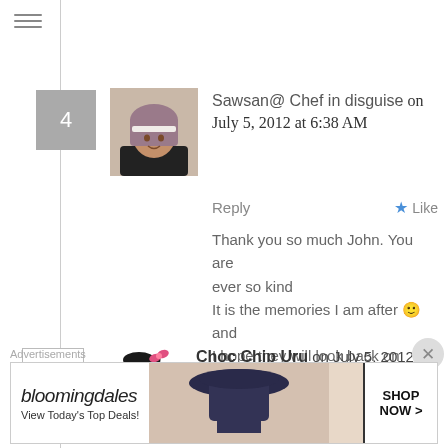≡
4
[Figure (photo): Profile photo of Sawsan, a woman wearing a hijab]
Sawsan@ Chef in disguise on July 5, 2012 at 6:38 AM
Reply  ★ Like
Thank you so much John. You are ever so kind
It is the memories I am after 🙂 and I hope they will look back on these days and smile
5
[Figure (illustration): Cartoon avatar of a chocolate chip cookie character]
Choc Chip Uru on July 5, 2012 at 12:56 AM   Reply  ★ Like
Lavish Lavish Lavish I could have seen
Advertisements
[Figure (screenshot): Bloomingdale's advertisement banner: 'View Today's Top Deals! SHOP NOW >']